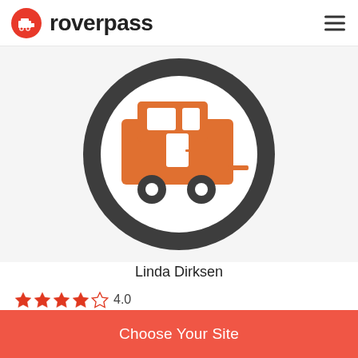roverpass
[Figure (logo): RoverPass orange circular logo icon with RV/caravan silhouette in white, next to bold text 'roverpass']
[Figure (illustration): Large circular avatar placeholder with dark charcoal ring border showing an orange RV/caravan silhouette on a white background]
Linda Dirksen
4.0
Our first time here was a great experience. The grandkids had so much fun. One suggestion.....the
Choose Your Site